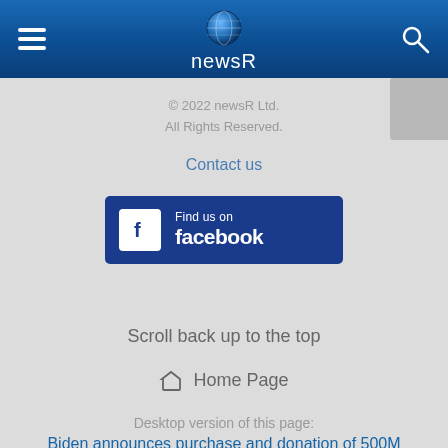newsR
© 2022 newsR Ltd.
All Rights Reserved.
Contact us
[Figure (logo): Find us on facebook button with Facebook logo icon on blue background]
Scroll back up to the top
Home Page
Desktop version of this page:
Biden announces purchase and donation of 500M